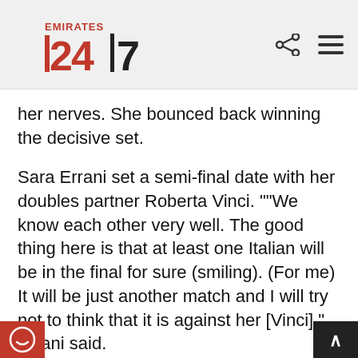Emirates 24|7
her nerves. She bounced back winning the decisive set.
Sara Errani set a semi-final date with her doubles partner Roberta Vinci. ""We know each other very well. The good thing here is that at least one Italian will be in the final for sure (smiling). (For me) It will be just another match and I will try not to think that it is against her [Vinci]," Errani said.
“Normally she’s with me on my side of the net and not on the other side. So to see her on the other side ough because one of us will have to lose. So for